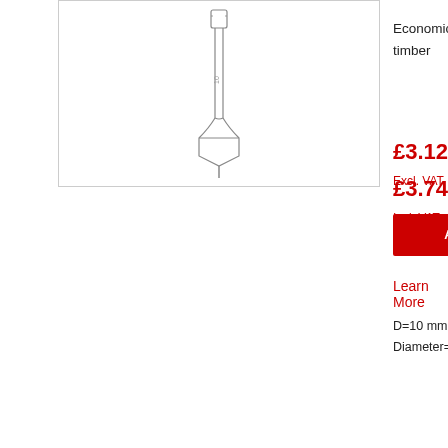[Figure (photo): Product image of a flat spade drill bit for cutting holes in timber, shown vertically oriented]
Economical flat bit for cutting holes in timber
£3.12 Excl. VAT
£3.74 Incl. VAT
ADD TO BASKET
Learn More
D=10 mm  OL=152 mm  Shank Diameter=1/4 inch hex
[Figure (engineering-diagram): Technical engineering diagram of a flat spade bit showing OL (overall length) and D (diameter) dimension annotations with bracket lines]